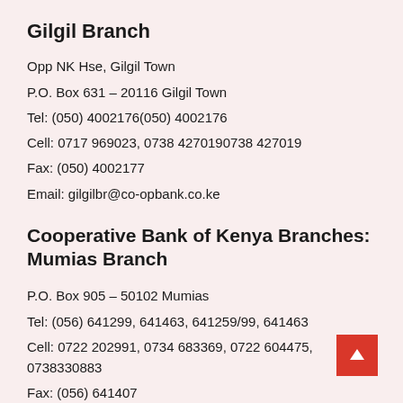Gilgil Branch
Opp NK Hse, Gilgil Town
P.O. Box 631 – 20116 Gilgil Town
Tel: (050) 4002176(050) 4002176
Cell: 0717 969023, 0738 4270190738 427019
Fax: (050) 4002177
Email: gilgilbr@co-opbank.co.ke
Cooperative Bank of Kenya Branches: Mumias Branch
P.O. Box 905 – 50102 Mumias
Tel: (056) 641299, 641463, 641259/99, 641463
Cell: 0722 202991, 0734 683369, 0722 604475, 0738330883
Fax: (056) 641407
Email: mumiasbr@co-opbank.co.ke
Githunguri Branch